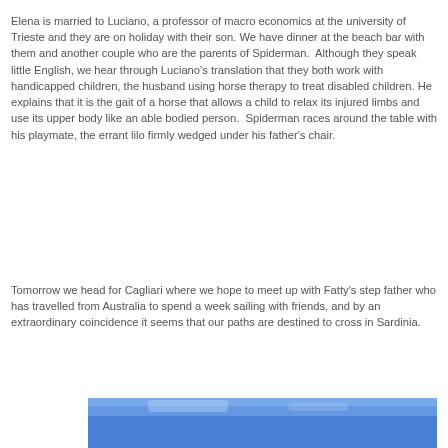Elena is married to Luciano, a professor of macro economics at the university of Trieste and they are on holiday with their son. We have dinner at the beach bar with them and another couple who are the parents of Spiderman.  Although they speak little English, we hear through Luciano's translation that they both work with handicapped children, the husband using horse therapy to treat disabled children. He explains that it is the gait of a horse that allows a child to relax its injured limbs and use its upper body like an able bodied person.  Spiderman races around the table with his playmate, the errant lilo firmly wedged under his father's chair.
Tomorrow we head for Cagliari where we hope to meet up with Fatty's step father who has travelled from Australia to spend a week sailing with friends, and by an extraordinary coincidence it seems that our paths are destined to cross in Sardinia.
[Figure (photo): Partial view of a photo with blue sky, partially visible at the bottom of the page.]